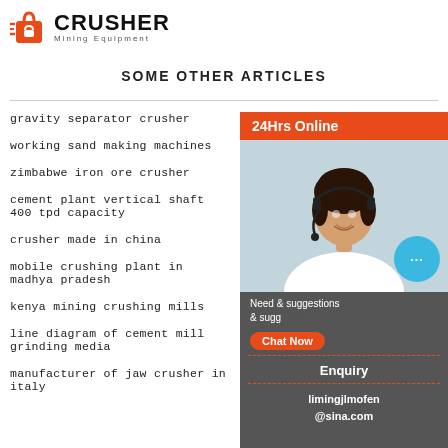[Figure (logo): Crusher Mining Equipment logo with red shopping bag icon and bold black CRUSHER text]
SOME OTHER ARTICLES
gravity separator crusher
working sand making machines
zimbabwe iron ore crusher
cement plant vertical shaft 400 tpd capacity
crusher made in china
mobile crushing plant in madhya pradesh
kenya mining crushing mills
line diagram of cement mill grinding media
manufacturer of jaw crusher in italy
[Figure (illustration): Sidebar with 24Hrs Online label, photo of woman with headset, chat bubble, Need & suggestions text, Chat Now button, Enquiry section, and limingjlmofen@sina.com email]